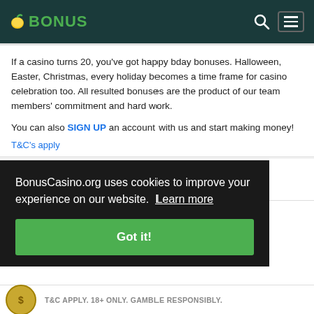BONUS
If a casino turns 20, you've got happy bday bonuses. Halloween, Easter, Christmas, every holiday becomes a time frame for casino celebration too. All resulted bonuses are the product of our team members' commitment and hard work.
You can also SIGN UP an account with us and start making money!
T&C's apply
CRYPTO OFFER 500% + 100 FREE SPINS AT
BonusCasino.org uses cookies to improve your experience on our website. Learn more
Got it!
T&C APPLY. 18+ ONLY. GAMBLE RESPONSIBLY.